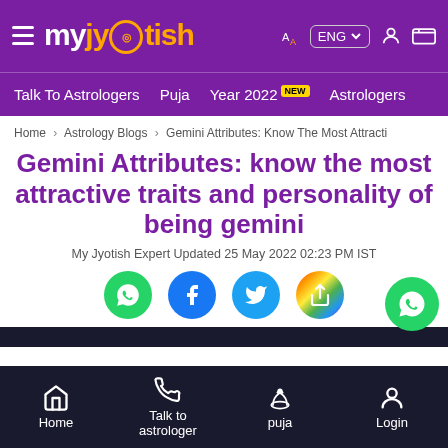myjyotish — ENG
Talk To Astrologers | Puja | Year 2022 NEW | Astrologers
Home › Astrology Blogs › Gemini Attributes: Know The Most Attracti
Gemini Attributes: know the most attractive traits and personality of being gemini
My Jyotish Expert Updated 25 May 2022 02:23 PM IST
[Figure (other): Social sharing icons: WhatsApp, Facebook, Twitter, and a colorful multi-share icon]
Home | Talk to astrologer | puja | Login